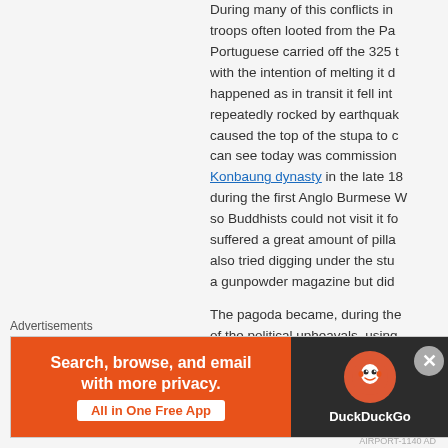During many of this conflicts in... troops often looted from the Pa... Portuguese carried off the 325 t... with the intention of melting it d... happened as in transit it fell int... repeatedly rocked by earthquak... caused the top of the stupa to c... can see today was commission... Konbaung dynasty in the late 18... during the first Anglo Burmese W... so Buddhists could not visit it fo... suffered a great amount of pilla... also tried digging under the stu... a gunpowder magazine but did
The pagoda became, during the... of the political upheavals, using... plan protests and General Aung... born in 1846 to demand in...
Advertisements
[Figure (other): DuckDuckGo advertisement banner with orange background and text 'Search, browse, and email with more privacy. All in One Free App' on the left, and DuckDuckGo logo on dark background on the right.]